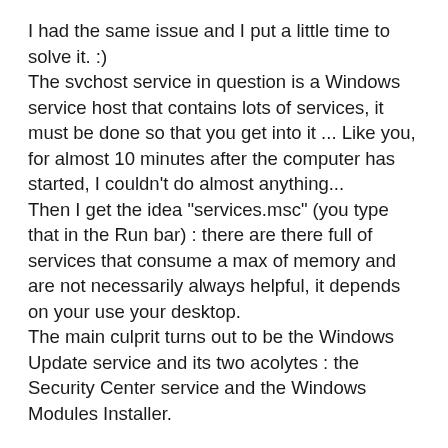I had the same issue and I put a little time to solve it. :) The svchost service in question is a Windows service host that contains lots of services, it must be done so that you get into it ... Like you, for almost 10 minutes after the computer has started, I couldn't do almost anything... Then I get the idea "services.msc" (you type that in the Run bar) : there are there full of services that consume a max of memory and are not necessarily always helpful, it depends on your use your desktop. The main culprit turns out to be the Windows Update service and its two acolytes : the Security Center service and the Windows Modules Installer.
If you have a correct antivirus, you do not need to search for the Windows updates at each startup. Personally, since I disabled all three services, I haven't the problem at all any more ; I just reactivate the Update